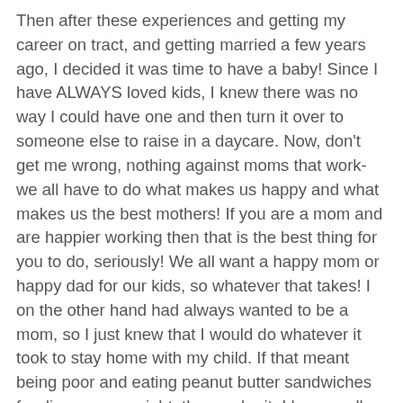Then after these experiences and getting my career on tract, and getting married a few years ago, I decided it was time to have a baby! Since I have ALWAYS loved kids, I knew there was no way I could have one and then turn it over to someone else to raise in a daycare. Now, don't get me wrong, nothing against moms that work- we all have to do what makes us happy and what makes us the best mothers! If you are a mom and are happier working then that is the best thing for you to do, seriously! We all want a happy mom or happy dad for our kids, so whatever that takes! I on the other hand had always wanted to be a mom, so I just knew that I would do whatever it took to stay home with my child. If that meant being poor and eating peanut butter sandwiches for dinner every night, then so be it. I have really enjoyed being at home with my precious child and could not imagine anything better!
So there you have it, yep it was long I know, but I had to put it all out there, so that way you know where I am coming from and all your questions are answered, well at least most! Soooo, in a nutshell, this blog is about my day to day occurrences with my daughter and how all of my past